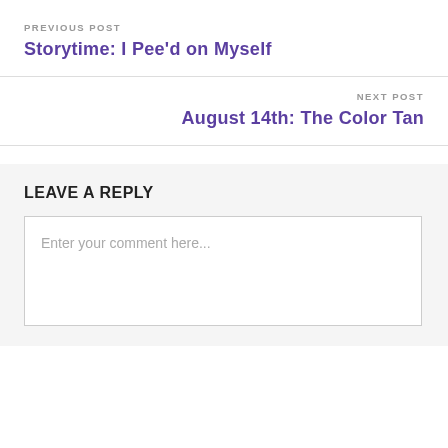PREVIOUS POST
Storytime: I Pee'd on Myself
NEXT POST
August 14th: The Color Tan
LEAVE A REPLY
Enter your comment here...